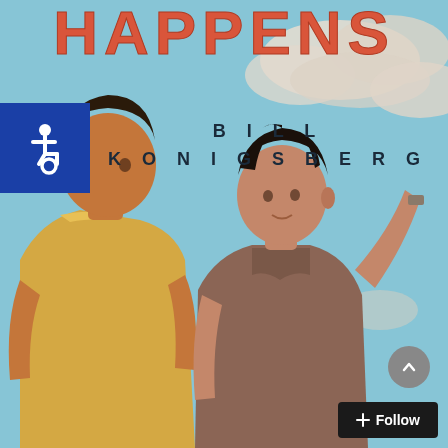[Figure (illustration): Book cover illustration showing two young men facing each other against a light blue sky with white clouds. The taller man on the left wears a yellow t-shirt and has medium-brown skin. The shorter man on the right wears a brown button-up shirt and has his hand raised to his hair, looking up at the other man with a slight smile. The cover has a retro illustrated style.]
HAPPENS
BILL KONIGSBERG
[Figure (logo): Accessibility icon — white wheelchair symbol on blue square background]
+ Follow